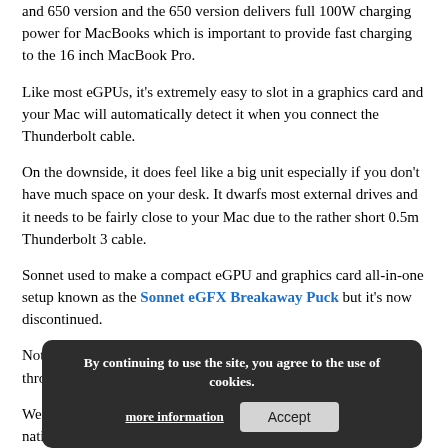and 650 version and the 650 version delivers full 100W charging power for MacBooks which is important to provide fast charging to the 16 inch MacBook Pro.
Like most eGPUs, it's extremely easy to slot in a graphics card and your Mac will automatically detect it when you connect the Thunderbolt cable.
On the downside, it does feel like a big unit especially if you don't have much space on your desk. It dwarfs most external drives and it needs to be fairly close to your Mac due to the rather short 0.5m Thunderbolt 3 cable.
Sonnet used to make a compact eGPU and graphics card all-in-one setup known as the Sonnet eGFX Breakaway Puck but it's now discontinued.
Note that the Sonnet also does not support running Windows through Boot Camp.
We don't recommend this anyway as macOS supports eGPU units natively but if you are thinking of running Windows on your Mac bear this issue in mind.
By continuing to use the site, you agree to the use of cookies. more information | Accept